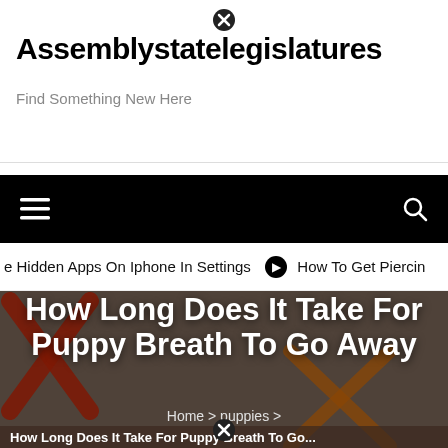⊗
Assemblystatelegislatures
Find Something New Here
[Figure (other): Black navigation bar with hamburger menu icon on left and search icon on right]
e Hidden Apps On Iphone In Settings  ➡  How To Get Piercin
[Figure (photo): Background photo showing hands with tattoos and red/orange X marks drawn on image. Overlay text reads: How Long Does It Take For Puppy Breath To Go Away]
How Long Does It Take For Puppy Breath To Go Away
Home > puppies >
How Long Does It Take For Puppy Breath To Go...